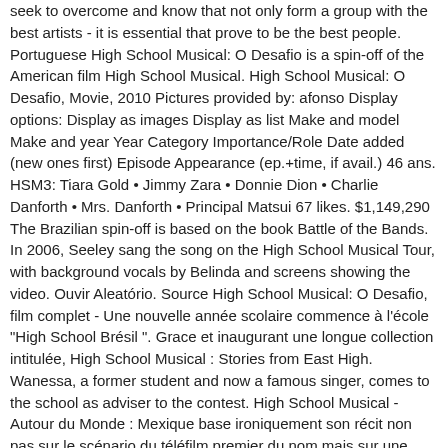seek to overcome and know that not only form a group with the best artists - it is essential that prove to be the best people. Portuguese High School Musical: O Desafio is a spin-off of the American film High School Musical. High School Musical: O Desafio, Movie, 2010 Pictures provided by: afonso Display options: Display as images Display as list Make and model Make and year Year Category Importance/Role Date added (new ones first) Episode Appearance (ep.+time, if avail.) 46 ans. HSM3: Tiara Gold • Jimmy Zara • Donnie Dion • Charlie Danforth • Mrs. Danforth • Principal Matsui 67 likes. $1,149,290 The Brazilian spin-off is based on the book Battle of the Bands. In 2006, Seeley sang the song on the High School Musical Tour, with background vocals by Belinda and screens showing the video. Ouvir Aleatório. Source High School Musical: O Desafio, film complet - Une nouvelle année scolaire commence à l'école "High School Brésil ". Grace et inaugurant une longue collection intitulée, High School Musical : Stories from East High. Wanessa, a former student and now a famous singer, comes to the school as adviser to the contest. High School Musical - Autour du Monde : Mexique base ironiquement son récit non pas sur le scénario du téléfilm premier du nom mais sur une adaptation d'un de ses innombrables produits dérivés : Battle of the Bands, un roman pour adolescents écrit par N. B. Film Read about Atuar, Dançar, Cantar by High School Musical O